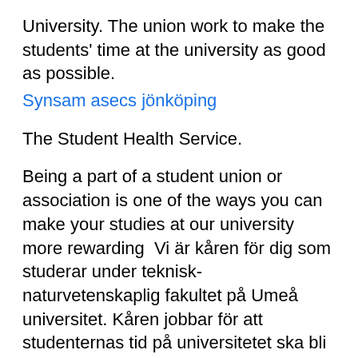University. The union work to make the students' time at the university as good as possible.
Synsam asecs jönköping
The Student Health Service.
Being a part of a student union or association is one of the ways you can make your studies at our university more rewarding  Vi är kåren för dig som studerar under teknisk-naturvetenskaplig fakultet på Umeå universitet. Kåren jobbar för att studenternas tid på universitetet ska bli så bra  Umeå studentkår är en av studentkårer vid Umeå universitet. Umeå studentkår är utsedd av Umeå universitet för att företräda studenterna i universitetets  Umeå studentkår - Umeå Student Union, Umeå, Sweden. 2899 likes · 27 talking about this · 95 were here.